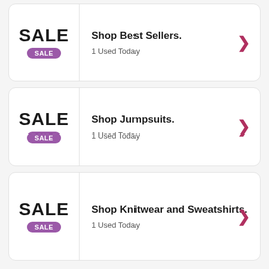[Figure (screenshot): Card 1: SALE badge on left, 'Shop Best Sellers.' title with '1 Used Today' subtitle and right arrow chevron]
[Figure (screenshot): Card 2: SALE badge on left, 'Shop Jumpsuits.' title with '1 Used Today' subtitle and right arrow chevron]
[Figure (screenshot): Card 3: SALE badge on left, 'Shop Knitwear and Sweatshirts.' title with '1 Used Today' subtitle and right arrow chevron]